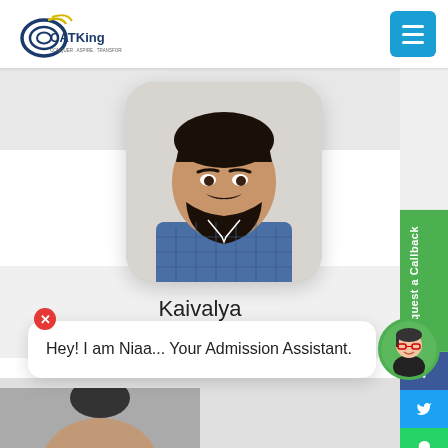[Figure (logo): CATKing logo with tagline]
[Figure (photo): Profile photo of Kaivalya, a bearded man in a plaid blue shirt, rounded square frame]
Kaivalya
NMIMS
[Figure (other): Green vertical 'Request a Callback' button on right sidebar, with Facebook, Twitter, WhatsApp social icons below]
Hey! I am Niaa... Your Admission Assistant.
[Figure (photo): Chat assistant avatar - small circular photo of a girl with glasses]